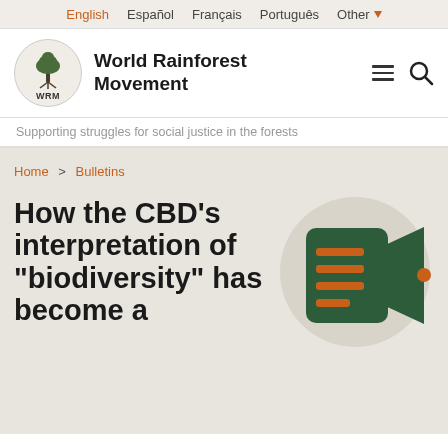English  Español  Français  Português  Other
[Figure (logo): World Rainforest Movement tree logo circle with WRM text]
World Rainforest Movement
Supporting struggles for social justice in the forests
Home > Bulletins
How the CBD's interpretation of "biodiversity" has become a threat to...
[Figure (illustration): Bulletin icon: document with megaphone/speaker, orange and dark green colors, on beige circle background]